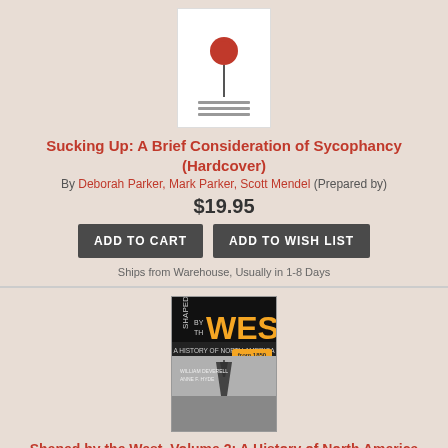[Figure (photo): Book cover of 'Sucking Up: A Brief Consideration of Sycophancy' showing a white cover with a red lollipop/pin icon and small text at the bottom]
Sucking Up: A Brief Consideration of Sycophancy (Hardcover)
By Deborah Parker, Mark Parker, Scott Mendel (Prepared by)
$19.95
ADD TO CART
ADD TO WISH LIST
Ships from Warehouse, Usually in 1-8 Days
[Figure (photo): Book cover of 'Shaped by the West, Volume 2: A History of North America from 1850' showing a dark cover with yellow WEST text and black and white photo of an oil derrick]
Shaped by the West, Volume 2: A History of North America from 1850 (Paperback)
By William F. Deverell, Anne F. Hyde